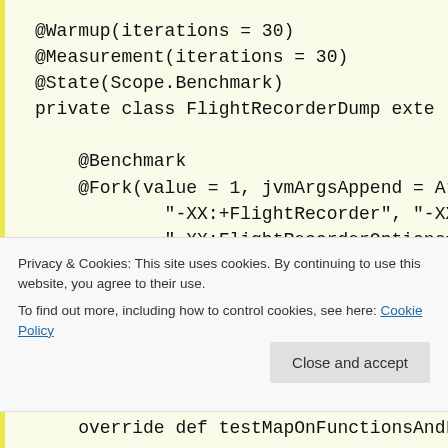@Warmup(iterations = 30)
@Measurement(iterations = 30)
@State(Scope.Benchmark)
private class FlightRecorderDump exte

    @Benchmark
    @Fork(value = 1, jvmArgsAppend = Ar
            "-XX:+FlightRecorder", "-XX:+Ur
            "-XX:FlightRecorderOptions=defa
    override def testFoldOnFunctionsLis
Privacy & Cookies: This site uses cookies. By continuing to use this website, you agree to their use.
To find out more, including how to control cookies, see here: Cookie Policy
override def testMapOnFunctionsAndL